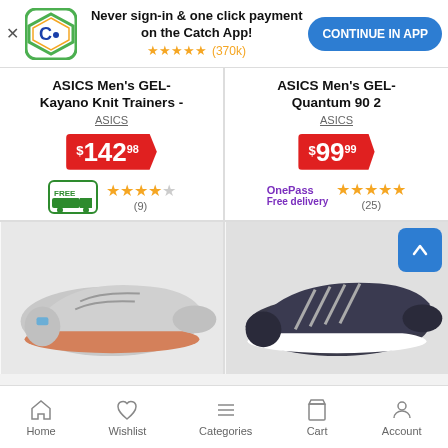[Figure (screenshot): App download banner with Catch.com.au logo, text 'Never sign-in & one click payment on the Catch App!', 5 star rating (370k), and CONTINUE IN APP button]
ASICS Men's GEL-Kayano Knit Trainers -
ASICS
$142.98
FREE delivery, ★★★★☆ (9)
ASICS Men's GEL-Quantum 90 2
ASICS
$99.99
OnePass Free delivery, ★★★★★ (25)
[Figure (photo): Light grey ASICS running shoe with pink/coral sole accent]
[Figure (photo): Dark navy/charcoal ASICS running shoe]
Home  Wishlist  Categories  Cart  Account